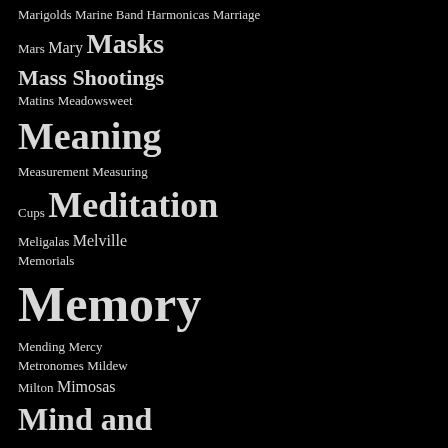Marigolds Marine Band Harmonicas Marriage Mars Mary Masks Mass Shootings Matins Meadowsweet Meaning Measurement Measuring Cups Meditation Meligalas Melville Memorials Memory Mending Mercy Metronomes Mildew Milton Mimosas Mind and Body Mind Over Matter Minstrels Mint Minutes and Degrees Minutiae Miracles Mirrors Mission Lake Miss Martin Mist Mobs